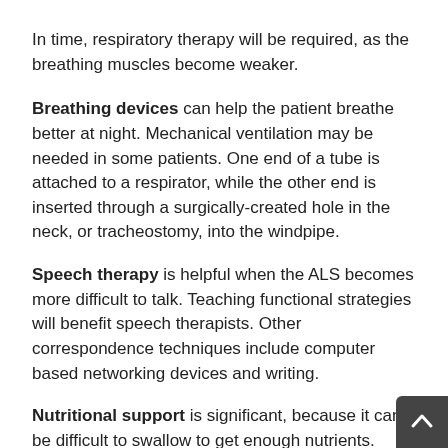In time, respiratory therapy will be required, as the breathing muscles become weaker.
Breathing devices can help the patient breathe better at night. Mechanical ventilation may be needed in some patients. One end of a tube is attached to a respirator, while the other end is inserted through a surgically-created hole in the neck, or tracheostomy, into the windpipe.
Speech therapy is helpful when the ALS becomes more difficult to talk. Teaching functional strategies will benefit speech therapists. Other correspondence techniques include computer based networking devices and writing.
Nutritional support is significant, because it can be difficult to swallow to get enough nutrients. Nutritionists should advise on the preparation of more easily swallowing healthy meals. Suction equipment and feeding tubes may help.